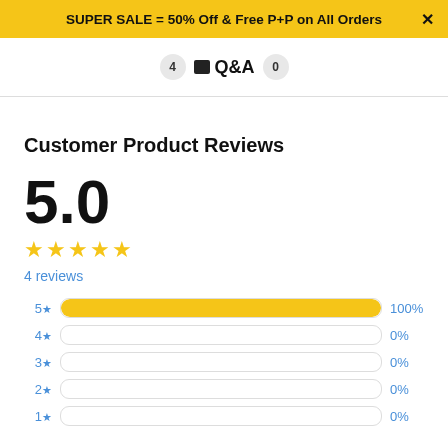SUPER SALE = 50% Off & Free P+P on All Orders ×
4   Q&A   0
Customer Product Reviews
5.0
★★★★★
4 reviews
[Figure (bar-chart): Star rating distribution]